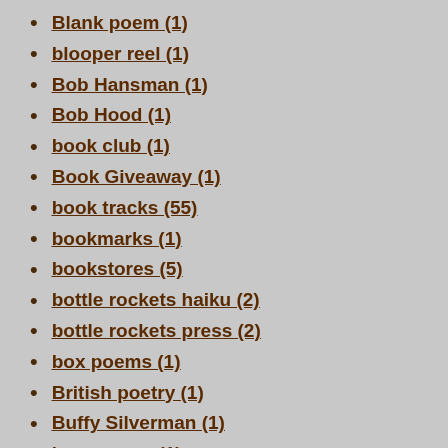Blank poem (1)
blooper reel (1)
Bob Hansman (1)
Bob Hood (1)
book club (1)
Book Giveaway (1)
book tracks (55)
bookmarks (1)
bookstores (5)
bottle rockets haiku (2)
bottle rockets press (2)
box poems (1)
British poetry (1)
Buffy Silverman (1)
bug poems (1)
bugs (1)